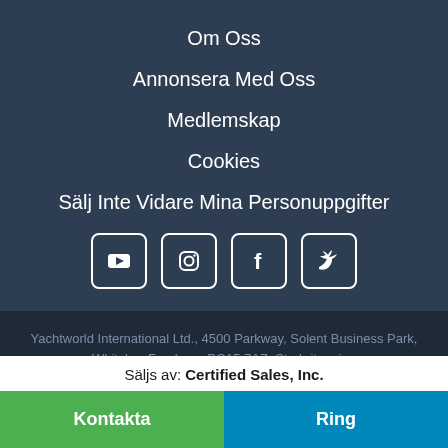Om Oss
Annonsera Med Oss
Medlemskap
Cookies
Sälj Inte Vidare Mina Personuppgifter
[Figure (other): Social media icons: YouTube, Instagram, Facebook, Twitter]
Yachtworld International Ltd., 4500 Parkway, Solent Business Park, Whiteley, Fareham, PO15 7AZ, Storbritannien
copyright © 2021 Boats Group Alla rättigheter skyddade.
villkor för användning
konfidentialitet
cookies
Säljs av: Certified Sales, Inc.
Kontakta
Ring